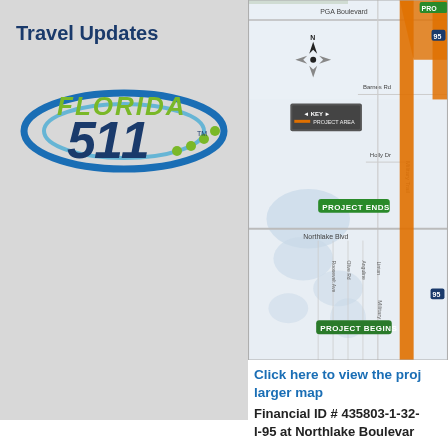Travel Updates
[Figure (logo): Florida 511 logo with blue swirl and green dots]
[Figure (map): Road map showing I-95 project area near Northlake Boulevard in Palm Beach County, Florida. Shows PGA Boulevard at top, Northlake Blvd in middle, military trail, I-95 in orange. Green labels for PROJECT BEGINS (bottom) and PROJECT ENDS (middle). Key shows orange line as PROJECT AREA. North arrow compass shown.]
Click here to view the project on a larger map
Financial ID # 435803-1-32-
I-95 at Northlake Boulevar